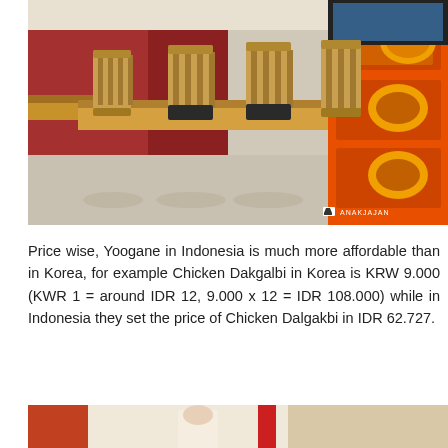[Figure (photo): Interior of a restaurant with wooden chairs and tables, an orange menu display board visible on the right side showing food items, with ANAKJAJAN watermark in bottom right corner.]
Price wise, Yoogane in Indonesia is much more affordable than in Korea, for example Chicken Dakgalbi in Korea is KRW 9.000 (KWR 1 = around IDR 12, 9.000 x 12 = IDR 108.000) while in Indonesia they set the price of Chicken Dalgakbi in IDR 62.727.
[Figure (photo): Partial view of another restaurant photo, partially visible at the bottom of the page.]